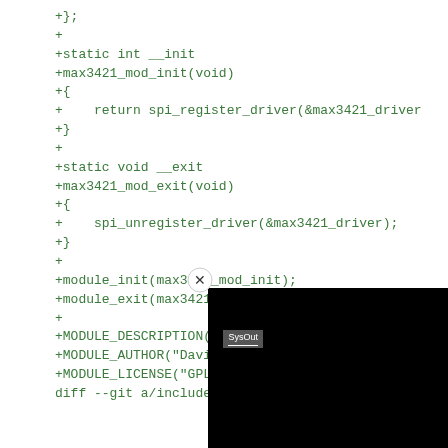[Figure (screenshot): Code diff showing Linux kernel driver additions: static init and exit functions for max3421 SPI driver module, followed by module_init, module_exit, MODULE_DESCRIPTION, MODULE_AUTHOR, MODULE_LICENSE macros, and a partial diff --git line. A black overlay panel with SysOut label and close button appears in the bottom-right corner.]